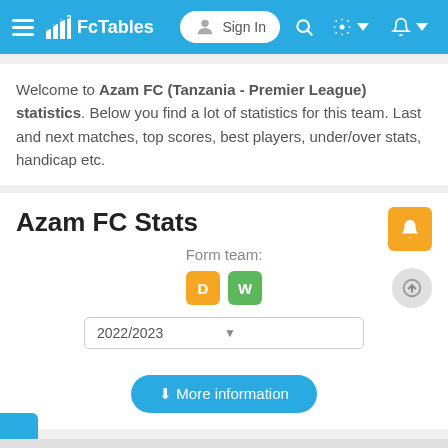FcTables — Sign In
Welcome to Azam FC (Tanzania - Premier League) statistics. Below you find a lot of statistics for this team. Last and next matches, top scores, best players, under/over stats, handicap etc.
Azam FC Stats
Form team: D W
2022/2023
More information
[Figure (infographic): Unibet advertisement banner: BET ON THE EUROPA LEAGUE FINAL — Join Now. 19+ Terms & Conditions apply.]